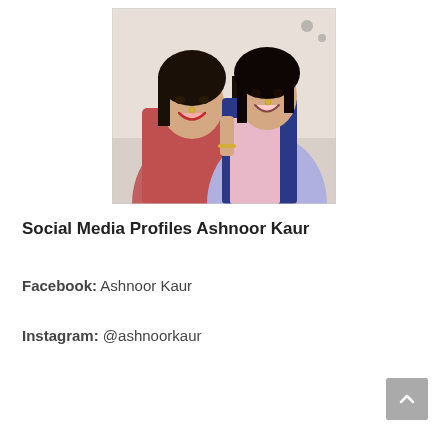[Figure (photo): Two young women smiling and posing together. One wears a pink/red traditional outfit, the other wears a pink top with a blue dupatta. Both have nose jewelry (nath). Indoor setting.]
Social Media Profiles Ashnoor Kaur
Facebook: Ashnoor Kaur
Instagram: @ashnoorkaur